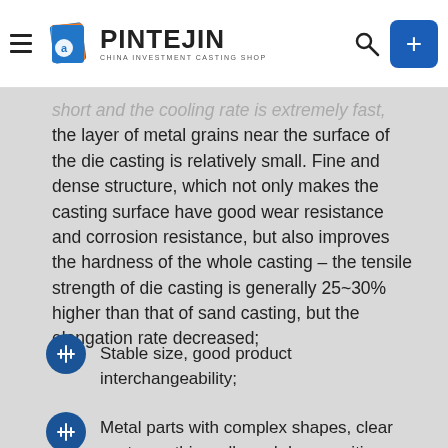PINTEJIN — CHINA INVESTMENT CASTING SHOP
short and the cooling rate is extremely fast, the layer of metal grains near the surface of the die casting is relatively small. Fine and dense structure, which not only makes the casting surface have good wear resistance and corrosion resistance, but also improves the hardness of the whole casting – the tensile strength of die casting is generally 25~30% higher than that of sand casting, but the elongation rate decreased;
Stable size, good product interchangeability;
Metal parts with complex shapes, clear contours, thin walls and deep cavities can be manufactured: Because the molten metal